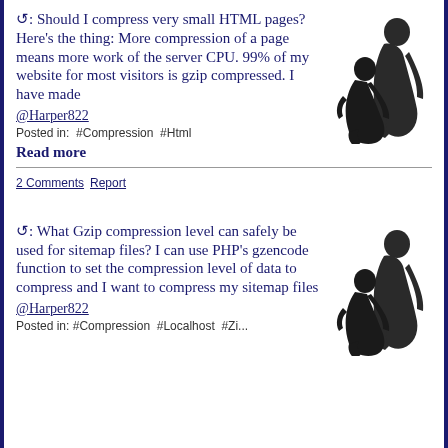↺: Should I compress very small HTML pages? Here's the thing: More compression of a page means more work of the server CPU. 99% of my website for most visitors is gzip compressed. I have made
@Harper822
Posted in: #Compression #Html
Read more
[Figure (illustration): Silhouette of two people, one leaning toward the other]
2 Comments Report
↺: What Gzip compression level can safely be used for sitemap files? I can use PHP's gzencode function to set the compression level of data to compress and I want to compress my sitemap files
@Harper822
Posted in: #Compression #Localhost #Zi...
[Figure (illustration): Silhouette of two people, one leaning toward the other]